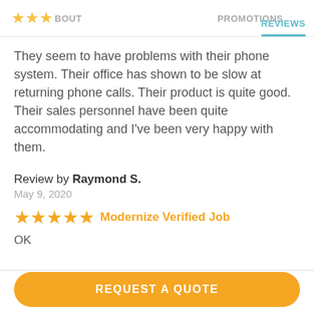ABOUT  PROMOTIONS  REVIEWS
They seem to have problems with their phone system. Their office has shown to be slow at returning phone calls. Their product is quite good. Their sales personnel have been quite accommodating and I've been very happy with them.
Review by Raymond S.
May 9, 2020
★★★★★  Modernize Verified Job
OK
REQUEST A QUOTE